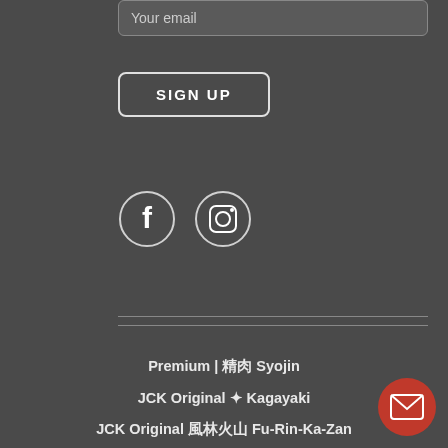Your email
SIGN UP
[Figure (illustration): Facebook and Instagram social media icon circles in white outline on dark background]
Premium | 精肉 Syojin
JCK Original ✦ Kagayaki
JCK Original 風林火山 Fu-Rin-Ka-Zan
JCK Natures
Hattori
Fujiwara Kanefusa
Glestain